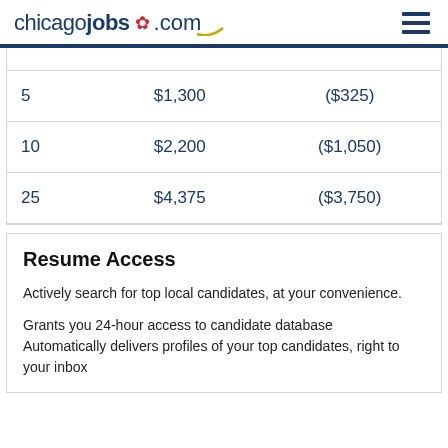chicagojobs.com
| 5 | $1,300 | ($325) |
| 10 | $2,200 | ($1,050) |
| 25 | $4,375 | ($3,750) |
Resume Access
Actively search for top local candidates, at your convenience.
Grants you 24-hour access to candidate database
Automatically delivers profiles of your top candidates, right to your inbox